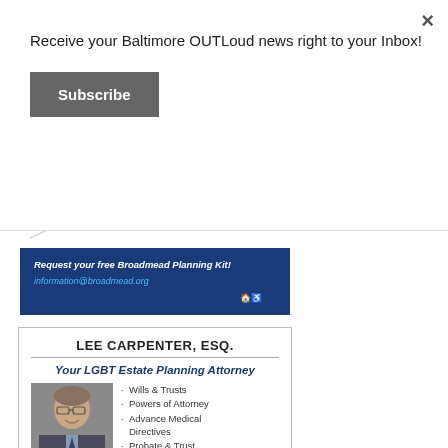Receive your Baltimore OUTLoud news right to your Inbox!
Subscribe
[Figure (illustration): Broadmead advertisement with logo, 'Broadmead.org', 'A Dynamic Lifestyle Community', a Best award ribbon, and text 'Request your free Broadmead Planning Kit! information@broadmead.org']
LEE CARPENTER, ESQ.
Your LGBT Estate Planning Attorney
[Figure (photo): Portrait photo of Lee Carpenter, a man with glasses, smiling, wearing a suit and tie]
Wills & Trusts
Powers of Attorney
Advance Medical Directives
Probate & Trust Administration
Prenuptial Agreements